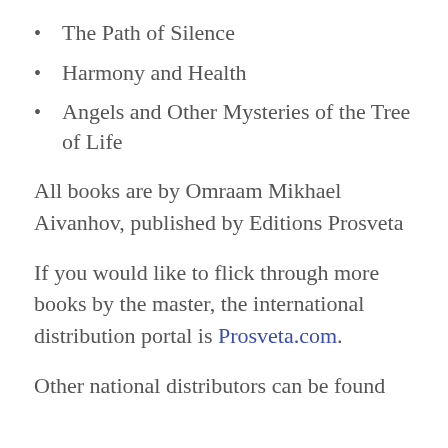The Path of Silence
Harmony and Health
Angels and Other Mysteries of the Tree of Life
All books are by Omraam Mikhael Aivanhov, published by Editions Prosveta
If you would like to flick through more books by the master, the international distribution portal is Prosveta.com.
Other national distributors can be found